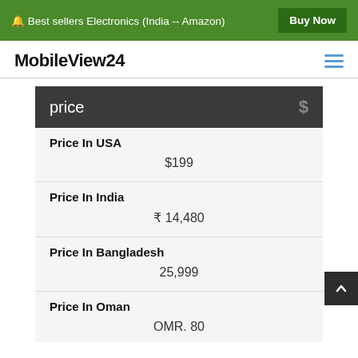🔔 Best sellers Electronics (India -- Amazon) | Buy Now
MobileView24
| price | $ |
| --- | --- |
| Price In USA | $199 |
| Price In India | ₹ 14,480 |
| Price In Bangladesh | 25,999 |
| Price In Oman | OMR. 80 |